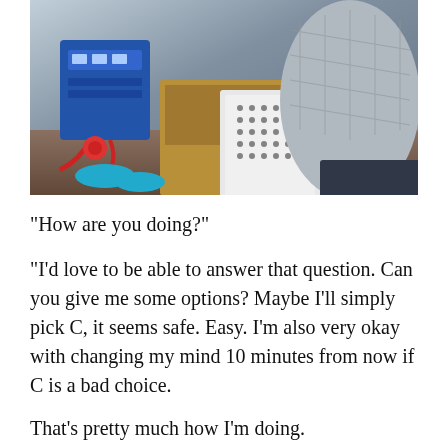[Figure (photo): Indoor photo showing a person in a puffer jacket lying or sitting in a small space with mechanical equipment including a blue battery/inverter unit with red cables, wooden storage compartments, and a white perforated device in the foreground.]
“How are you doing?”
“I’d love to be able to answer that question. Can you give me some options? Maybe I’ll simply pick C, it seems safe. Easy. I’m also very okay with changing my mind 10 minutes from now if C is a bad choice.
That’s pretty much how I’m doing.
When 3 different individuals on your healthcare team call you within a 24-hour period of time, you know that shit just